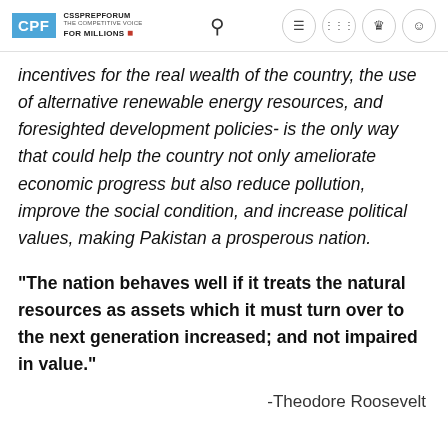CSSPREPFORUM THE COMPETITIVE VOICE FOR MILLIONS
incentives for the real wealth of the country, the use of alternative renewable energy resources, and foresighted development policies- is the only way that could help the country not only ameliorate economic progress but also reduce pollution, improve the social condition, and increase political values, making Pakistan a prosperous nation.
“The nation behaves well if it treats the natural resources as assets which it must turn over to the next generation increased; and not impaired in value.”
-Theodore Roosevelt